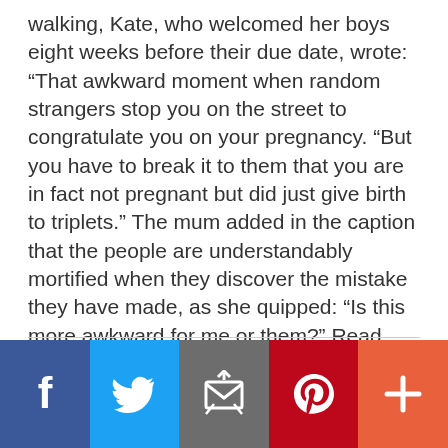walking, Kate, who welcomed her boys eight weeks before their due date, wrote: “That awkward moment when random strangers stop you on the street to congratulate you on your pregnancy. “But you have to break it to them that you are in fact not pregnant but did just give birth to triplets.” The mum added in the caption that the people are understandably mortified when they discover the mistake they have made, as she quipped: “Is this more awkward for me or them?” Read More in …
[Read more...]
[Figure (other): Social media share bar with five buttons: Facebook (blue), Twitter (light blue), Email (gray), Pinterest (red), More/Plus (orange-red)]